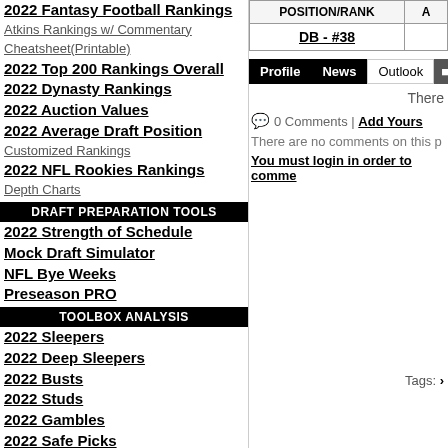2022 Fantasy Football Rankings
Atkins Rankings w/ Commentary
Cheatsheet(Printable)
2022 Top 200 Rankings Overall
2022 Dynasty Rankings
2022 Auction Values
2022 Average Draft Position
Customized Rankings
2022 NFL Rookies Rankings
Depth Charts
DRAFT PREPARATION TOOLS
2022 Strength of Schedule
Mock Draft Simulator
NFL Bye Weeks
Preseason PRO
TOOLBOX ANALYSIS
2022 Sleepers
2022 Deep Sleepers
2022 Busts
2022 Studs
2022 Gambles
2022 Safe Picks
2022 Handcuffs
| POSITION/RANK | A |
| --- | --- |
| DB - #38 |  |
Profile | News | Outlook
There
0 Comments | Add Yours
There are no comments on this p
You must login in order to comme
Tags: ›